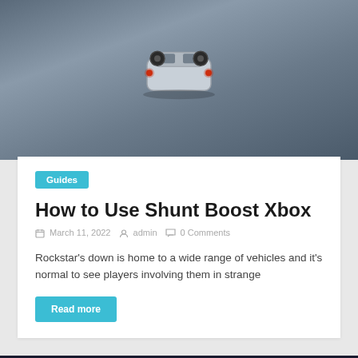[Figure (screenshot): Top portion of a gaming screenshot showing an overturned vehicle with red lights against a grey/blue surface, viewed from above.]
Guides
How to Use Shunt Boost Xbox
March 11, 2022  admin  0 Comments
Rockstar's down is home to a wide range of vehicles and it's normal to see players involving them in strange
Read more
[Figure (screenshot): Bottom portion showing a dark blurred scene with blue and purple bokeh lights, likely police lights in a game.]